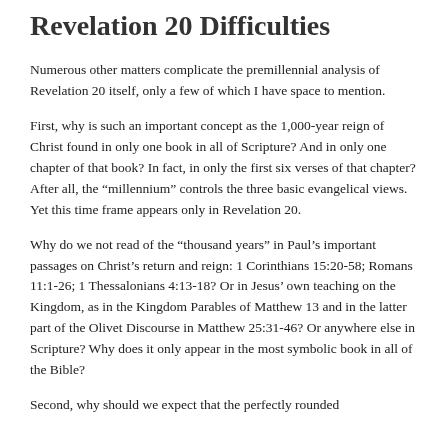Revelation 20 Difficulties
Numerous other matters complicate the premillennial analysis of Revelation 20 itself, only a few of which I have space to mention.
First, why is such an important concept as the 1,000-year reign of Christ found in only one book in all of Scripture? And in only one chapter of that book? In fact, in only the first six verses of that chapter? After all, the “millennium” controls the three basic evangelical views. Yet this time frame appears only in Revelation 20.
Why do we not read of the “thousand years” in Paul’s important passages on Christ’s return and reign: 1 Corinthians 15:20-58; Romans 11:1-26; 1 Thessalonians 4:13-18? Or in Jesus’ own teaching on the Kingdom, as in the Kingdom Parables of Matthew 13 and in the latter part of the Olivet Discourse in Matthew 25:31-46? Or anywhere else in Scripture? Why does it only appear in the most symbolic book in all of the Bible?
Second, why should we expect that the perfectly rounded